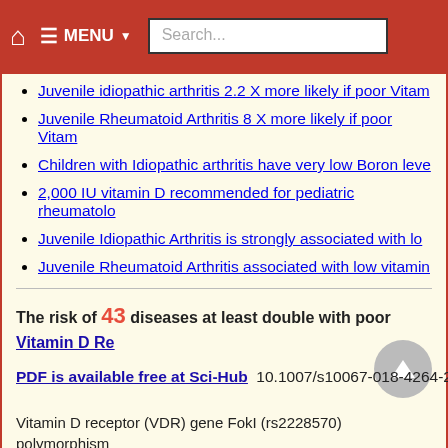Home | MENU | Search...
Juvenile idiopathic arthritis 2.2 X more likely if poor Vitam...
Juvenile Rheumatoid Arthritis 8 X more likely if poor Vitam...
Children with Idiopathic arthritis have very low Boron leve...
2,000 IU vitamin D recommended for pediatric rheumatolo...
Juvenile Idiopathic Arthritis is strongly associated with lo...
Juvenile Rheumatoid Arthritis associated with low vitamin...
The risk of 43 diseases at least double with poor Vitamin D Re...
PDF is available free at Sci-Hub  10.1007/s10067-018-4264-2
Vitamin D receptor (VDR) gene FokI (rs2228570) polymorphism